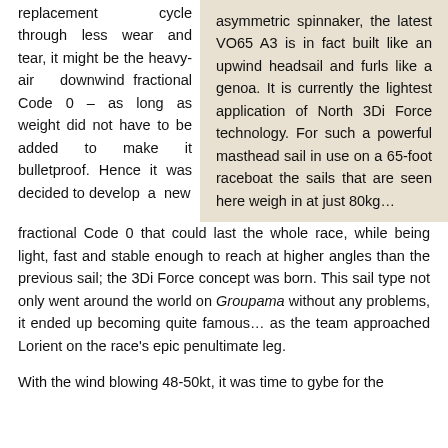replacement cycle through less wear and tear, it might be the heavy-air downwind fractional Code 0 – as long as weight did not have to be added to make it bulletproof. Hence it was decided to develop a new fractional Code 0 that could last the whole race, while being light, fast and stable enough to reach at higher angles than the previous sail; the 3Di Force concept was born. This sail type not only went around the world on Groupama without any problems, it ended up becoming quite famous… as the team approached Lorient on the race's epic penultimate leg.
asymmetric spinnaker, the latest VO65 A3 is in fact built like an upwind headsail and furls like a genoa. It is currently the lightest application of North 3Di Force technology. For such a powerful masthead sail in use on a 65-foot raceboat the sails that are seen here weigh in at just 80kg…
With the wind blowing 48-50kt, it was time to gybe for the